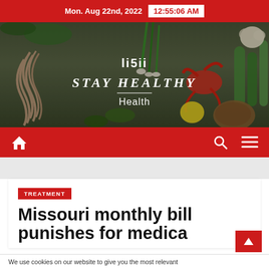Mon. Aug 22nd, 2022  12:55:06 AM
[Figure (illustration): Health website banner with food items (shrimp, vegetables, lobster, garlic, cucumber, coconut) on a wooden table background. Overlay text shows logo 'li5ii', tagline 'STAY HEALTHY', and section label 'Health'.]
[Figure (other): Red navigation bar with home icon on left, search icon and hamburger menu icon on right.]
TREATMENT
Missouri monthly bill punishes for medica
We use cookies on our website to give you the most relevant